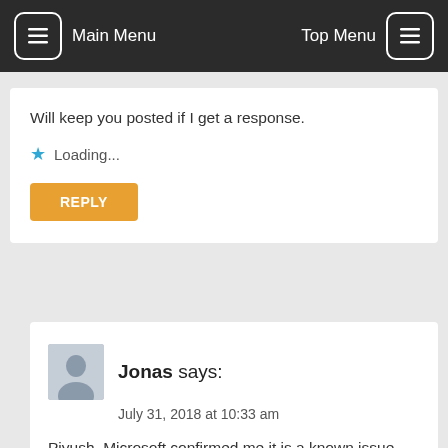Main Menu | Top Menu
Will keep you posted if I get a response.
Loading...
REPLY
Jonas says:
July 31, 2018 at 10:33 am
Piyush, Microsoft confirmed me it is a known issue and it is being worked on… They couldn't commit any date but it would be expected to take weeks. Will